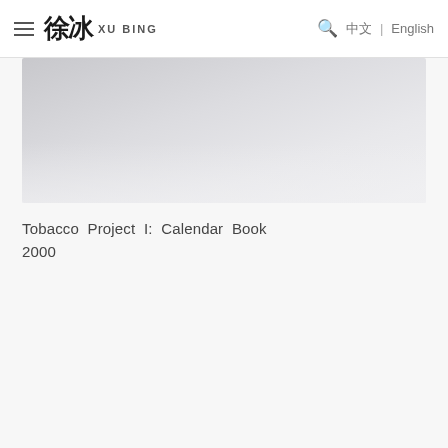徐冰 XU BING | 中文 | English
[Figure (photo): Partially visible artwork image with light grey gradient background, appears to be a cropped top portion of an artwork or book cover for Tobacco Project I: Calendar Book]
Tobacco Project I: Calendar Book
2000